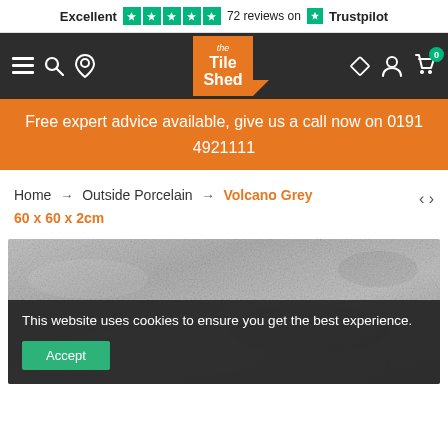Excellent ★★★★★ 72 reviews on Trustpilot
[Figure (screenshot): The Tile Shed navigation bar with hamburger menu, search, store locator icons on left; The Tile Shed orange logo in center; diamond, account, and cart (0) icons on right, all on dark background]
Free expert advice available, give us a call now on 0191 4921111
Home → Outside Porcelain → Volcano Grey 60 x 60 x 2cm
[Figure (photo): Volcano Grey 60x60x2cm porcelain tile product image showing grey stone texture]
This website uses cookies to ensure you get the best experience.